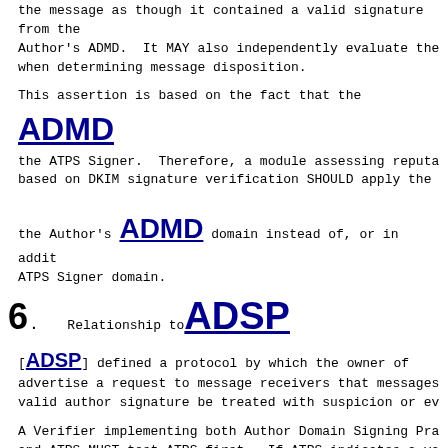the message as though it contained a valid signature from the Author's ADMD. It MAY also independently evaluate the when determining message disposition.
This assertion is based on the fact that the ADMD vouches for the ATPS Signer. Therefore, a module assessing reputation based on DKIM signature verification SHOULD apply the the Author's ADMD domain instead of, or in addition to, the ATPS Signer domain.
6. Relationship to ADSP
[ADSP] defined a protocol by which the owner of advertise a request to message receivers that messages without a valid author signature be treated with suspicion or even rejected.
A Verifier implementing both Author Domain Signing Practices and ATPS MUST test ATPS first. If ATPS indicates a valid signature, the Verifier MUST act, with respect to ADSP, as though the message has a valid Author Domain Signature (because that's what ATPS delegation means), and no ADSP test is required.
7.